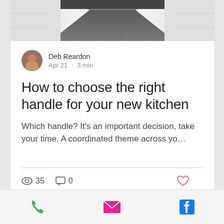[Figure (photo): Top-down view of a narrow kitchen hallway with dark wood floor and white cabinets on both sides]
Deb Reardon
Apr 21 · 3 min
How to choose the right handle for your new kitchen
Which handle? It's an important decision, take your time. A coordinated theme across yo…
35  0
[Figure (infographic): Bottom toolbar with phone icon (green), email envelope icon (pink/red), and Facebook icon (blue)]